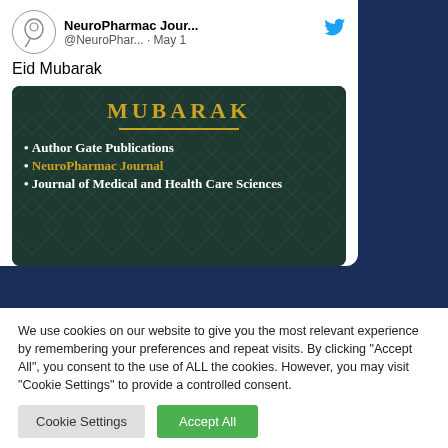[Figure (screenshot): Tweet card from NeuroPharmac Journal (@NeuroPhar...) posted May 1, showing 'Eid Mubarak' text and an image with Author Gate Publications, NeuroPharmac Journal, and Journal of Medical and Health Care Sciences listed on a dark green decorative background.]
We use cookies on our website to give you the most relevant experience by remembering your preferences and repeat visits. By clicking "Accept All", you consent to the use of ALL the cookies. However, you may visit "Cookie Settings" to provide a controlled consent.
Cookie Settings
Accept All